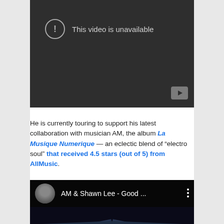[Figure (screenshot): YouTube video player showing 'This video is unavailable' error message with a warning icon circle, on a dark background, with a YouTube play button in the bottom right corner.]
He is currently touring to support his latest collaboration with musician AM, the album La Musique Numerique — an eclectic blend of "electro soul" that received 4.5 stars (out of 5) from AllMusic.
[Figure (screenshot): YouTube video thumbnail showing AM & Shawn Lee - Good ... with a circular avatar of a person with long hair, and a dark concert/music background with radiating light beams.]